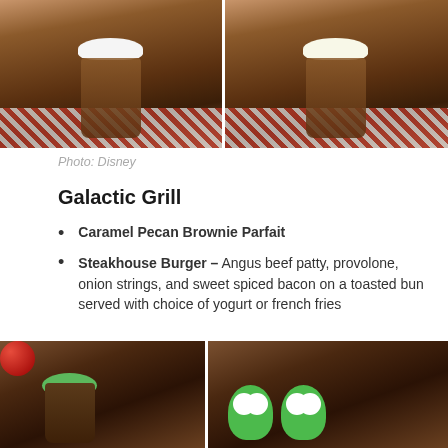[Figure (photo): Two chocolate drinks with whipped cream topping on a red checkered tablecloth background, side by side]
Photo: Disney
Galactic Grill
Caramel Pecan Brownie Parfait
Steakhouse Burger – Angus beef patty, provolone, onion strings, and sweet spiced bacon on a toasted bun served with choice of yogurt or french fries
Apple Pie Slush
Nova Coffee Slush – Chocolate-mint-flavored coffee slush
[Figure (photo): Two food/dessert images from Disney: left shows a popcorn cup with a cookie decoration, right shows green alien-shaped cookies or figures]